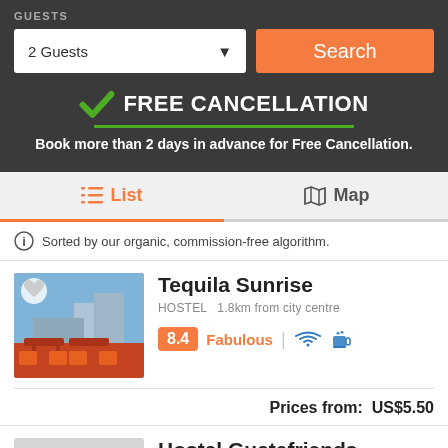GUESTS
2 Guests
Search
FREE CANCELLATION
Book more than 2 days in advance for Free Cancellation.
List
Map
Sorted by our organic, commission-free algorithm.
Tequila Sunrise
HOSTEL  1.8km from city centre
8.4  Fabulous
Prices from:  US$5.50
Hostal Guatefriends